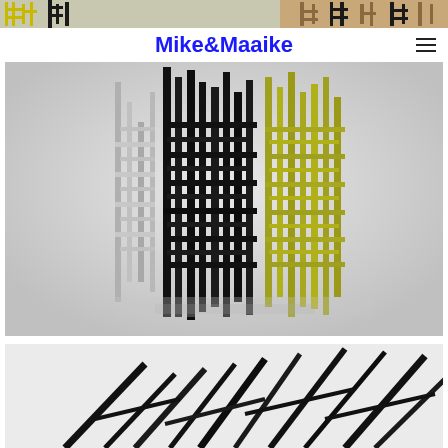[Figure (photo): Top strip showing abstract geometric artwork with yellow/gold and dark ladder-like intersecting vertical and horizontal bar sculptures against light background]
Mike&Maaike
[Figure (photo): Main large photograph of abstract 3D sculpture installation with intersecting vertical and horizontal bars in black, white/gray, and yellow-green/olive colors arranged in a grid-like pattern on a light gray background with soft shadows]
[Figure (photo): Bottom photograph showing abstract black diagonal and angular bar/stick sculptures or artwork on white background, partially cropped]